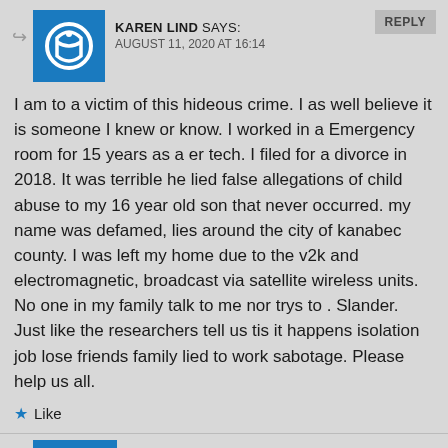KAREN LIND SAYS: AUGUST 11, 2020 AT 16:14
I am to a victim of this hideous crime. I as well believe it is someone I knew or know. I worked in a Emergency room for 15 years as a er tech. I filed for a divorce in 2018. It was terrible he lied false allegations of child abuse to my 16 year old son that never occurred. my name was defamed, lies around the city of kanabec county. I was left my home due to the v2k and electromagnetic, broadcast via satellite wireless units. No one in my family talk to me nor trys to . Slander. Just like the researchers tell us tis it happens isolation job lose friends family lied to work sabotage. Please help us all.
Like
MARC ERNAULT DE MOULINS SAYS: AUGUST 12, 2020 AT 19:52
Hello Karen,